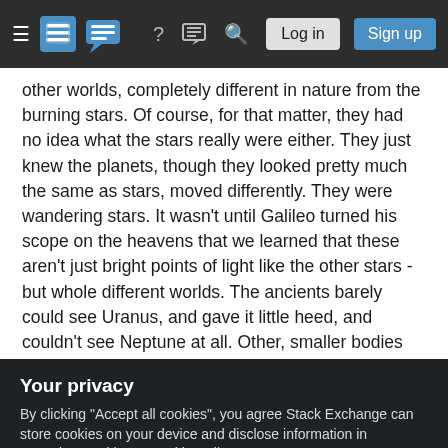Stack Exchange navigation bar with hamburger menu, logo, help, chat, search icons, Log in and Sign up buttons
other worlds, completely different in nature from the burning stars. Of course, for that matter, they had no idea what the stars really were either. They just knew the planets, though they looked pretty much the same as stars, moved differently. They were wandering stars. It wasn't until Galileo turned his scope on the heavens that we learned that these aren't just bright points of light like the other stars - but whole different worlds. The ancients barely could see Uranus, and gave it little heed, and couldn't see Neptune at all. Other, smaller bodies
Your privacy
By clicking "Accept all cookies", you agree Stack Exchange can store cookies on your device and disclose information in accordance with our Cookie Policy.
orbit was nearly circular, and it behaved like the